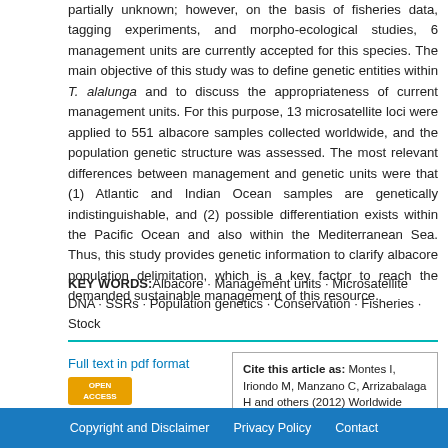partially unknown; however, on the basis of fisheries data, tagging experiments, and morpho-ecological studies, 6 management units are currently accepted for this species. The main objective of this study was to define genetic entities within T. alalunga and to discuss the appropriateness of current management units. For this purpose, 13 microsatellite loci were applied to 551 albacore samples collected worldwide, and the population genetic structure was assessed. The most relevant differences between management and genetic units were that (1) Atlantic and Indian Ocean samples are genetically indistinguishable, and (2) possible differentiation exists within the Pacific Ocean and also within the Mediterranean Sea. Thus, this study provides genetic information to clarify albacore population delimitation, which is a key factor to reach the demanded sustainable management of this resource.
KEY WORDS: Albacore · Management units · Microsatellite DNA · SSRs · Population genetics · Conservation · Fisheries · Stock
Full text in pdf format
Cite this article as: Montes I, Iriondo M, Manzano C, Arrizabalaga H and others (2012) Worldwide genetic structure of albacore Thunnus
Copyright and Disclaimer   Privacy Policy   Contact